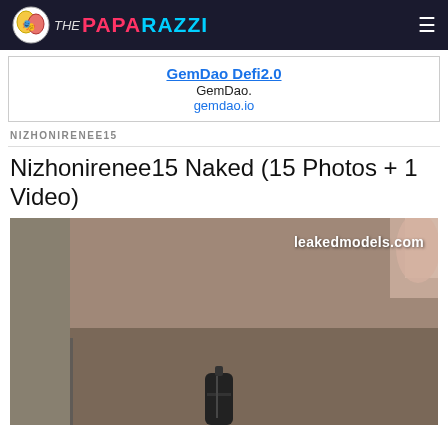THE PAPARAZZI
GemDao Defi2.0
GemDao.
gemdao.io
NIZHONIRENEE15
Nizhonirenee15 Naked (15 Photos + 1 Video)
[Figure (photo): A photo watermarked with leakedmodels.com showing a dim indoor scene with brownish walls and partial view of a person's foot/leg in the upper right corner, a dark cylindrical object in the lower center area.]